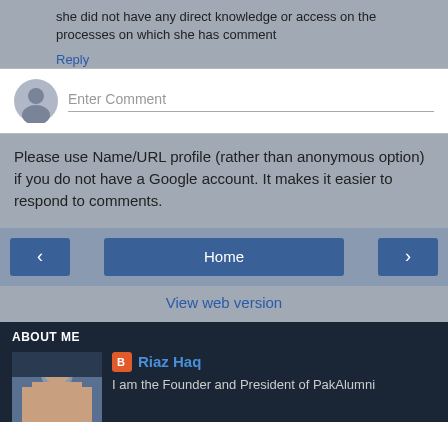she did not have any direct knowledge or access on the processes on which she has comment
Reply
Enter Comment
Please use Name/URL profile (rather than anonymous option) if you do not have a Google account. It makes it easier to respond to comments.
‹
Home
›
View web version
ABOUT ME
Riaz Haq
I am the Founder and President of PakAlumni